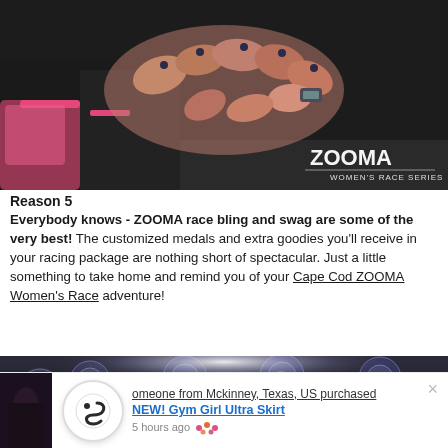[Figure (photo): Women in black athletic wear forming a circle with their hands touching in the center, with ZOOMA Women's Race Series logo watermark in the lower right]
Reason 5
Everybody knows - ZOOMA race bling and swag are some of the very best! The customized medals and extra goodies you'll receive in your racing package are nothing short of spectacular. Just a little something to take home and remind you of your Cape Cod ZOOMA Women's Race adventure!
[Figure (photo): Close-up of colorful race medals piled together, dark metallic with pink and blue designs]
someone from Mckinney, Texas, US purchased NEW! Gym Girl Ultra Skirt 5 hours ago